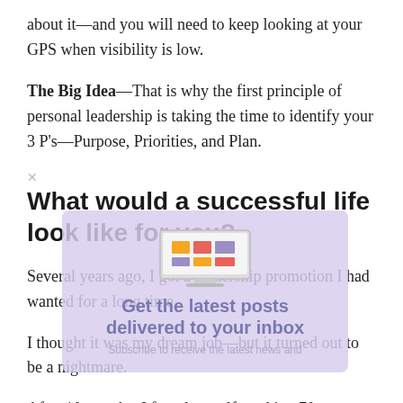about it—and you will need to keep looking at your GPS when visibility is low.
The Big Idea—That is why the first principle of personal leadership is taking the time to identify your 3 P's—Purpose, Priorities, and Plan.
What would a successful life look like for you?
Several years ago, I got a leadership promotion I had wanted for a long time.
I thought it was my dream job—but it turned out to be a nightmare.
[Figure (illustration): Email newsletter subscription popup overlay with purple background, showing a computer/monitor icon with colorful blocks and the text 'Get the latest posts delivered to your inbox' and 'Subscribe to receive the latest news and']
After 10 months, I found myself working 70-hour weeks. I was spending less time with my